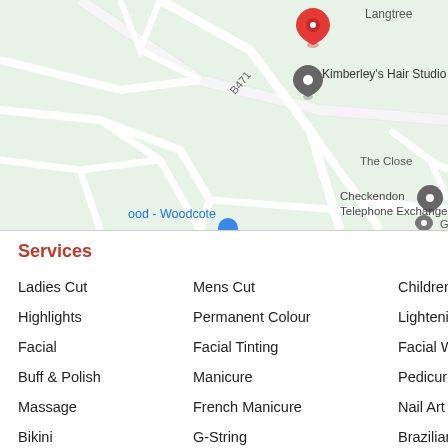[Figure (map): Google Maps screenshot showing streets around Kimberley's Hair Studio near Checkendon Telephone Exchange, Woodcote area. A red pin marks the location. Road B471 is visible. Labels include 'Kimberley's Hair Studio', 'Checkendon Telephone Exchange', 'The Close', 'ood - Woodcote', 'Green on the Green', 'Langtree'.]
Services
Ladies Cut
Mens Cut
Childrens Cut
Blowdry
Highlights
Permanent Colour
Lightening
Semi-Per
Facial
Facial Tinting
Facial Waxing
Body Wax
Buff & Polish
Manicure
Pedicure
Tanning
Massage
French Manicure
Nail Art
1/2 Leg
Bikini
G-String
Brazilian
Hollywood
Arm
Under Arm
Back
Chest
Packages